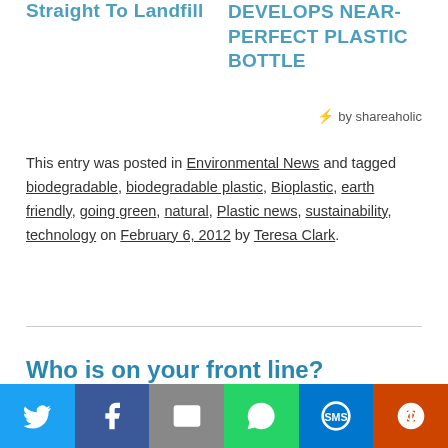Straight To Landfill
DEVELOPS NEAR-PERFECT PLASTIC BOTTLE
by shareaholic
This entry was posted in Environmental News and tagged biodegradable, biodegradable plastic, Bioplastic, earth friendly, going green, natural, Plastic news, sustainability, technology on February 6, 2012 by Teresa Clark.
Who is on your front line?
I am an avid recycler, I diligently sort my trash; separate out the…